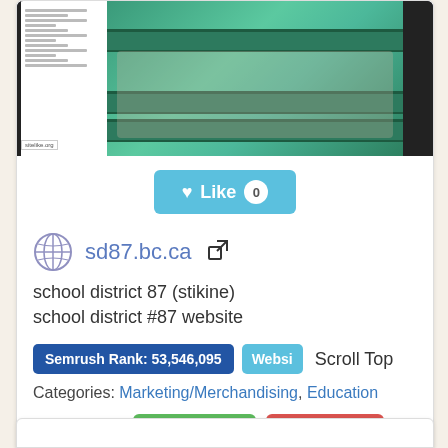[Figure (screenshot): Website screenshot of sd87.bc.ca showing a page with text on the left and a photo of children at a green picnic bench on the right. A 'sitelike.org' watermark badge is visible.]
♥ Like 0
sd87.bc.ca ↗
school district 87 (stikine)
school district #87 website
Semrush Rank: 53,546,095
Websi
Scroll Top
Categories: Marketing/Merchandising, Education
Is it similar?
👍 Yes 0
👎 No 0